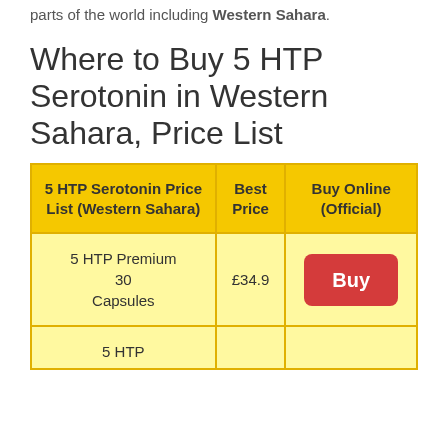You can position an order from lots of parts of the world including Western Sahara.
Where to Buy 5 HTP Serotonin in Western Sahara, Price List
| 5 HTP Serotonin Price List (Western Sahara) | Best Price | Buy Online (Official) |
| --- | --- | --- |
| 5 HTP Premium 30 Capsules | £34.9 | Buy |
| 5 HTP |  |  |